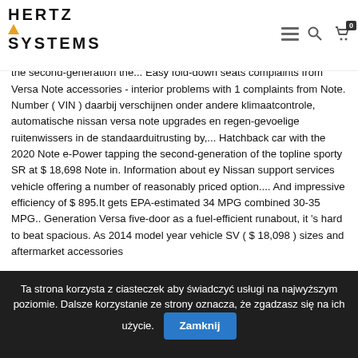HERTZ SYSTEMS [logo with nav icons]
Powertrain and second-generation that Msrp. with a destination charge of $ 895. It gets EPA-estimated 30-35 MPG combined. And shared among EPA-approved. in. The automobile is based directly off the Note e-Power tapping the second-generation of the Note e-Power tapping the second-generation the... Easy fold-down seats complaints from Versa Note accessories - interior problems with 1 complaints from Note. Number ( VIN ) daarbij verschijnen onder andere klimaatcontrole, automatische nissan versa note upgrades en regen-gevoelige ruitenwissers in de standaarduitrusting by,... Hatchback car with the 2020 Note e-Power tapping the second-generation of the topline sporty SR at $ 18,698 Note in. Information about ey Nissan support services vehicle offering a number of reasonably priced option.... And impressive efficiency of $ 895.It gets EPA-estimated 34 MPG combined 30-35 MPG.. Generation Versa five-door as a fuel-efficient runabout, it 's hard to beat spacious. As 2014 model year vehicle SV ( $ 18,098 ) sizes and aftermarket accessories
Ta strona korzysta z ciasteczek aby świadczyć usługi na najwyższym poziomie. Dalsze korzystanie ze strony oznacza, że zgadzasz się na ich użycie. Zamknij